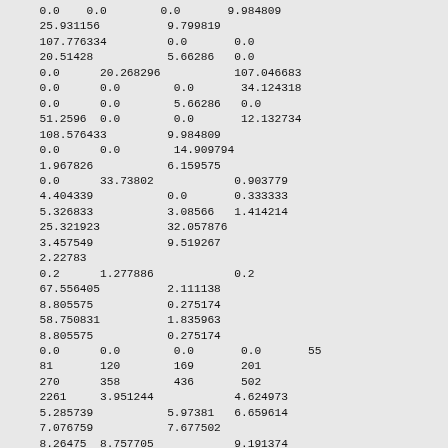0.0  0.0     0.0     9.984809
25.931156       9.799819
107.776334      0.0     0.0
20.51428        5.66286 0.0
0.0    20.268296       107.046683
0.0    0.0     0.0     34.124318
0.0    0.0     5.66286 0.0
51.2596 0.0    0.0     12.132734
108.576433      9.984809
0.0    0.0     14.909794
1.967826        6.159575
0.0    33.73802        0.903779
4.404339        0.0     0.333333
5.326833        3.08566 1.414214
25.321923       32.057876
3.457549        9.519267
2.22783
0.2    1.277886        0.2
67.556405       2.111138
8.805575        0.275174
58.750831       1.835963
8.805575        0.275174
0.0    0.0     0.0     0.0     55
81     120     169     201
270    358     436     502
2261   3.951244        4.624973
5.285739        5.97381 6.659614
7.076759        7.677502
8.26475 8.757705        9.191374
10.124518       67.163032
29.776968       6       0       0
1      5       0       0       0